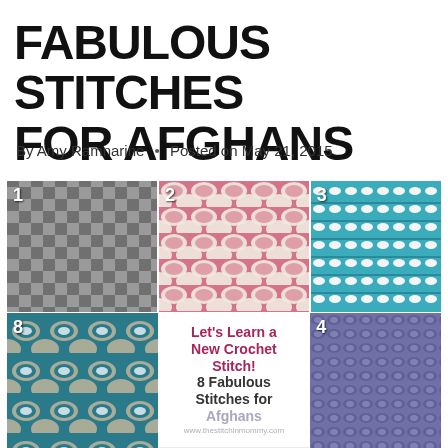FABULOUS STITCHES FOR AFGHANS
By Amy Ramnarine • Posted on May 21, 2015
[Figure (photo): A 2x3 grid collage of crochet stitch samples numbered 1, 2, 3, 8, 4, with a center text block reading 'Let's Learn a New Crochet Stitch! 8 Fabulous Stitches for Afghans' and watermark 'www.thestitchinmommy.com']